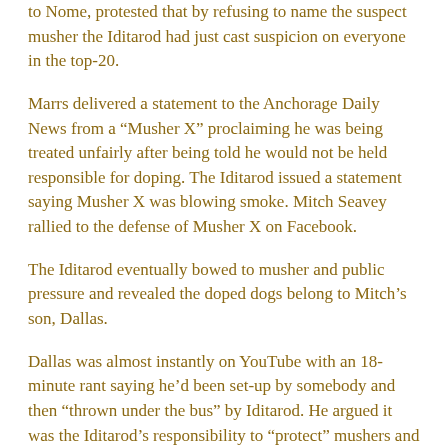to Nome, protested that by refusing to name the suspect musher the Iditarod had just cast suspicion on everyone in the top-20.
Marrs delivered a statement to the Anchorage Daily News from a “Musher X” proclaiming he was being treated unfairly after being told he would not be held responsible for doping. The Iditarod issued a statement saying Musher X was blowing smoke. Mitch Seavey rallied to the defense of Musher X on Facebook.
The Iditarod eventually bowed to musher and public pressure and revealed the doped dogs belong to Mitch’s son, Dallas.
Dallas was almost instantly on YouTube with an 18-minute rant saying he’d been set-up by somebody and then “thrown under the bus” by Iditarod. He argued it was the Iditarod’s responsibility to “protect” mushers and lashed out at animal-rights activists, other mushers, Iditarod officials and the Iditarod Board as possible saboteurs.
Dallas followed with interviews with malleable Alaska